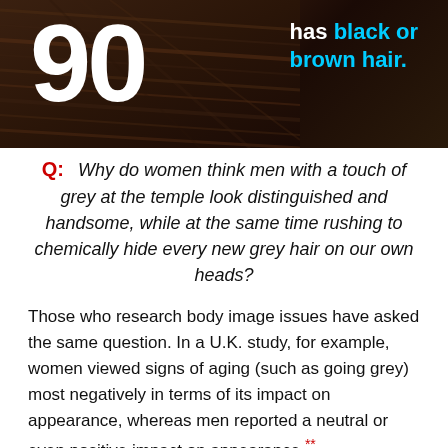[Figure (photo): Close-up photo of dark brown/black hair with a large white number '90' overlaid on the left, and text on the right reading 'has black or brown hair.' in white and cyan]
Q:  Why do women think men with a touch of grey at the temple look distinguished and handsome, while at the same time rushing to chemically hide every new grey hair on our own heads?
Those who research body image issues have asked the same question. In a U.K. study, for example, women viewed signs of aging (such as going grey) most negatively in terms of its impact on appearance, whereas men reported a neutral or even positive impact on appearance.**
As this study's authors reported: